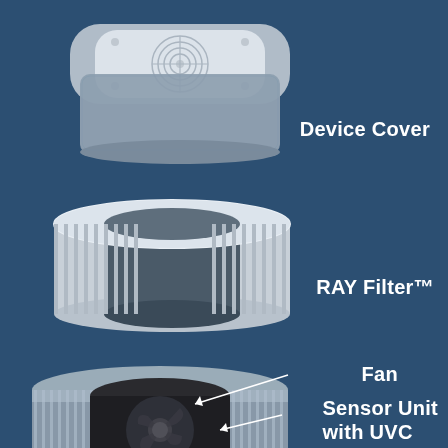[Figure (engineering-diagram): Exploded view diagram of an air purifier device on a dark blue background. Three main components are shown separated and stacked vertically: (1) Device Cover - a rounded square white/grey housing with a fan grille on top; (2) RAY Filter™ - a cylindrical ring/donut-shaped HEPA-style filter in white/grey; (3) Base unit (partially visible) showing Fan and Sensor Unit with UVC, a circular metallic component with a dark fan/motor in the center. Arrows point from label text to the Fan and Sensor Unit components.]
Device Cover
RAY Filter™
Fan
Sensor Unit
with UVC